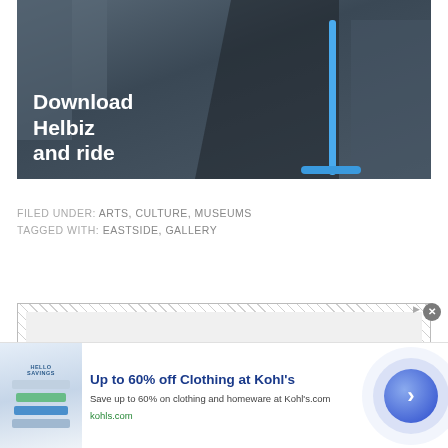[Figure (photo): Advertisement banner showing a woman using a Helbiz electric scooter on a city street, with bold white text overlaid reading 'Download Helbiz and ride']
FILED UNDER: ARTS, CULTURE, MUSEUMS
TAGGED WITH: EASTSIDE, GALLERY
[Figure (other): Hatched box placeholder with title text 'BEST OF THE AUSTINOT' partially visible]
[Figure (other): Bottom advertisement banner for Kohl's: 'Up to 60% off Clothing at Kohl's. Save up to 60% on clothing and homeware at Kohl's.com. kohls.com' with a call-to-action arrow button]